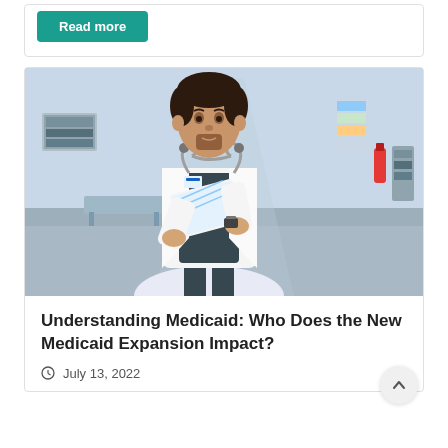Read more
[Figure (photo): A male doctor in a white lab coat with a stethoscope around his neck, reading documents in a hospital corridor.]
Understanding Medicaid: Who Does the New Medicaid Expansion Impact?
July 13, 2022